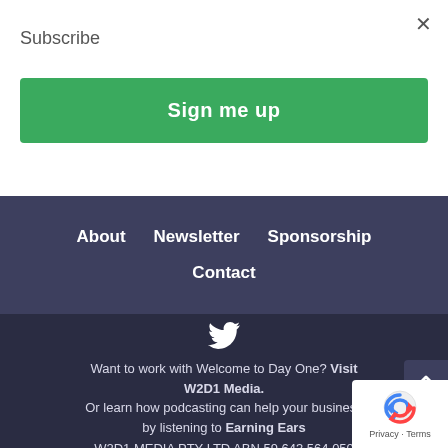×
Subscribe
Sign me up
About   Newsletter   Sponsorship
Contact
[Figure (logo): Twitter bird icon in white]
Want to work with Welcome to Day One? Visit W2D1 Media.
Or learn how podcasting can help your business by listening to Earning Ears
W2D1 MEDIA PTY LTD ABN 59 643 564 050